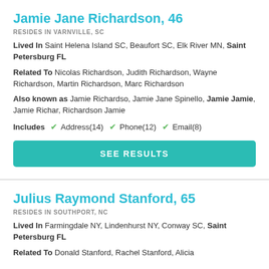Jamie Jane Richardson, 46
RESIDES IN VARNVILLE, SC
Lived In Saint Helena Island SC, Beaufort SC, Elk River MN, Saint Petersburg FL
Related To Nicolas Richardson, Judith Richardson, Wayne Richardson, Martin Richardson, Marc Richardson
Also known as Jamie Richardso, Jamie Jane Spinello, Jamie Jamie, Jamie Richar, Richardson Jamie
Includes ✔ Address(14) ✔ Phone(12) ✔ Email(8)
SEE RESULTS
Julius Raymond Stanford, 65
RESIDES IN SOUTHPORT, NC
Lived In Farmingdale NY, Lindenhurst NY, Conway SC, Saint Petersburg FL
Related To Donald Stanford, Rachel Stanford, Alicia